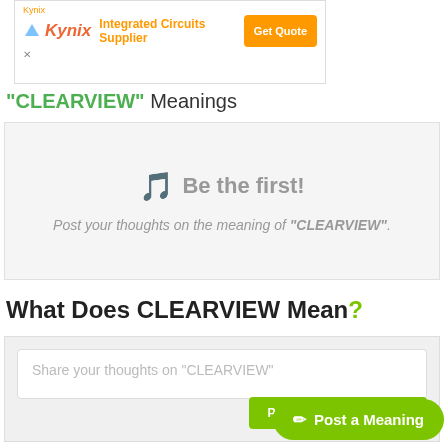[Figure (screenshot): Kynix Integrated Circuits Supplier advertisement banner with orange Get Quote button]
"CLEARVIEW" Meanings
Be the first! Post your thoughts on the meaning of "CLEARVIEW".
What Does CLEARVIEW Mean?
Share your thoughts on "CLEARVIEW"
POST YOUR THOUGHT
Post a Meaning